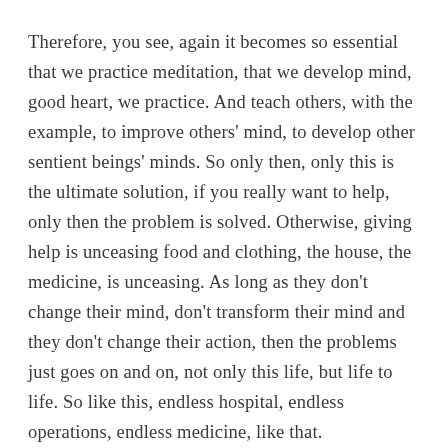Therefore, you see, again it becomes so essential that we practice meditation, that we develop mind, good heart, we practice. And teach others, with the example, to improve others' mind, to develop other sentient beings' minds. So only then, only this is the ultimate solution, if you really want to help, only then the problem is solved. Otherwise, giving help is unceasing food and clothing, the house, the medicine, is unceasing. As long as they don't change their mind, don't transform their mind and they don't change their action, then the problems just goes on and on, not only this life, but life to life. So like this, endless hospital, endless operations, endless medicine, like that.